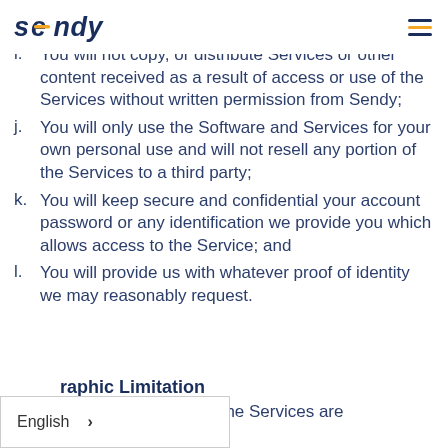sendy [logo] [hamburger menu]
i. You will not copy, or distribute Services or other content received as a result of access or use of the Services without written permission from Sendy;
j. You will only use the Software and Services for your own personal use and will not resell any portion of the Services to a third party;
k. You will keep secure and confidential your account password or any identification we provide you which allows access to the Service; and
l. You will provide us with whatever proof of identity we may reasonably request.
Geographic Limitation
products displayed on the Services are